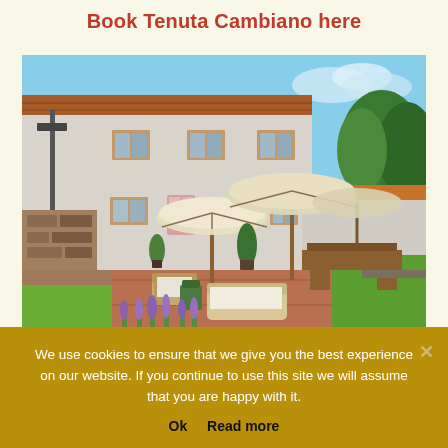Book Tenuta Cambiano here
[Figure (photo): Exterior photo of Tenuta Cambiano, a Tuscan farmhouse with white render and terracotta roof, outdoor terrace with wicker sofa, large cream parasols, wooden picnic tables, lavender in foreground, green lawn and trees in background under blue sky.]
We use cookies to ensure that we give you the best experience on our website. If you continue to use this site we will assume that you are happy with it.
Ok   Read more